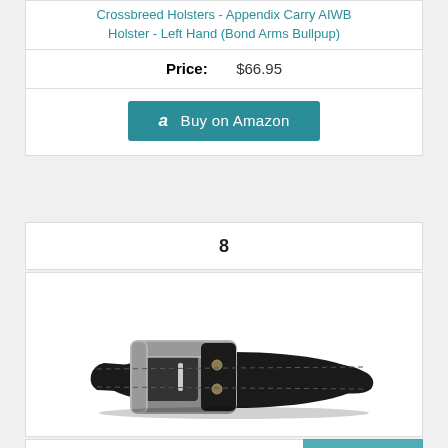Crossbreed Holsters - Appendix Carry AIWB Holster - Left Hand (Bond Arms Bullpup)
| Price: | $66.95 |
| --- | --- |
Buy on Amazon
8
[Figure (photo): Black leather gun belt with silver metal buckle]
CrossBreed Holsters Executive Gun Belt